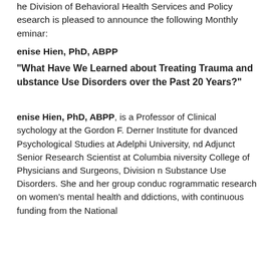The Division of Behavioral Health Services and Policy Research is pleased to announce the following Monthly Seminar:
Denise Hien, PhD, ABPP
"What Have We Learned about Treating Trauma and Substance Use Disorders over the Past 20 Years?"
Denise Hien, PhD, ABPP, is a Professor of Clinical Psychology at the Gordon F. Derner Institute for Advanced Psychological Studies at Adelphi University, and Adjunct Senior Research Scientist at Columbia University College of Physicians and Surgeons, Division on Substance Use Disorders. She and her group conduct programmatic research on women's mental health and addictions, with continuous funding from the National...